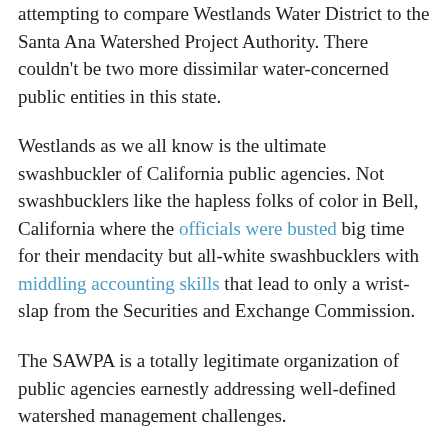attempting to compare Westlands Water District to the Santa Ana Watershed Project Authority. There couldn't be two more dissimilar water-concerned public entities in this state.
Westlands as we all know is the ultimate swashbuckler of California public agencies. Not swashbucklers like the hapless folks of color in Bell, California where the officials were busted big time for their mendacity but all-white swashbucklers with middling accounting skills that lead to only a wrist-slap from the Securities and Exchange Commission.
The SAWPA is a totally legitimate organization of public agencies earnestly addressing well-defined watershed management challenges.